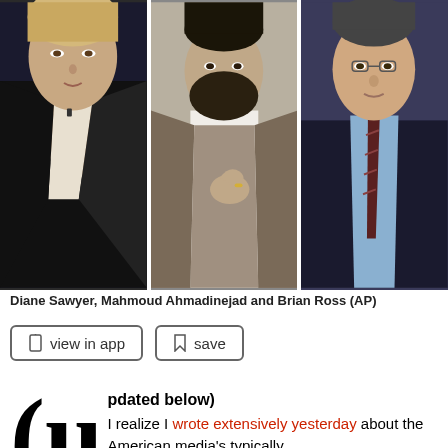[Figure (photo): Three side-by-side photos: Diane Sawyer on the left, Mahmoud Ahmadinejad in the center, and Brian Ross on the right. AP photos.]
Diane Sawyer, Mahmoud Ahmadinejad and Brian Ross (AP)
view in app
save
(Updated below) I realize I wrote extensively yesterday about the American media's typically mindless, nationalistic, war-craving hyping of The Iranian Threat -- completely redolent of what they did in 2002 and 2003 toward Iraq -- but I just saw this two-